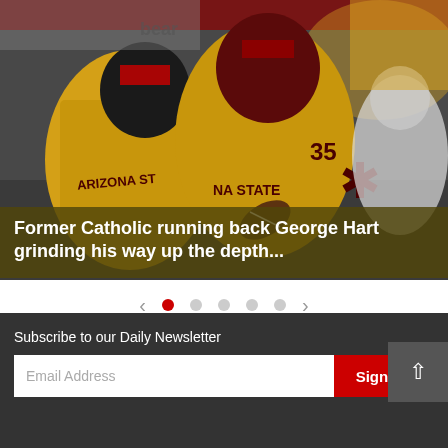[Figure (photo): Arizona State football players in gold and maroon uniforms on the field, with a running back carrying the ball. Players wearing 'ARIZONA STATE' jerseys visible.]
Former Catholic running back George Hart grinding his way up the depth...
Subscribe to our Daily Newsletter